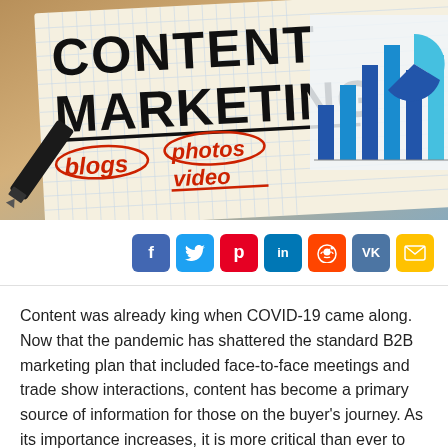[Figure (photo): Photo of a notebook with 'CONTENT MARKETING' written in large block letters, with 'blogs', 'photos', 'video' written in red cursive with circles/underlines. A marker pen is visible on the left, and a bar chart and pie chart are partially visible on the right side of the background.]
[Figure (infographic): Row of social sharing buttons: Facebook (f), Twitter (bird), Pinterest (p), LinkedIn (in), Reddit (alien), VK (VK), Email (envelope)]
Content was already king when COVID-19 came along. Now that the pandemic has shattered the standard B2B marketing plan that included face-to-face meetings and trade show interactions, content has become a primary source of information for those on the buyer's journey. As its importance increases, it is more critical than ever to